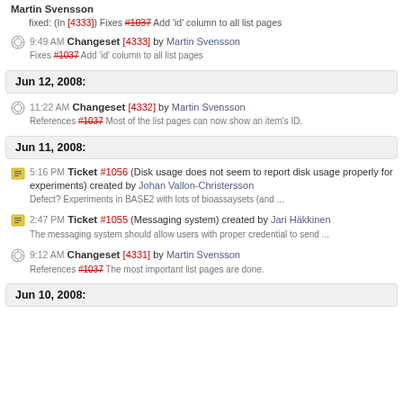Martin Svensson
fixed: (In [4333]) Fixes #1037 Add 'id' column to all list pages
9:49 AM Changeset [4333] by Martin Svensson
Fixes #1037 Add 'id' column to all list pages
Jun 12, 2008:
11:22 AM Changeset [4332] by Martin Svensson
References #1037 Most of the list pages can now show an item's ID.
Jun 11, 2008:
5:16 PM Ticket #1056 (Disk usage does not seem to report disk usage properly for experiments) created by Johan Vallon-Christersson
Defect? Experiments in BASE2 with lots of bioassaysets (and ...
2:47 PM Ticket #1055 (Messaging system) created by Jari Häkkinen
The messaging system should allow users with proper credential to send ...
9:12 AM Changeset [4331] by Martin Svensson
References #1037 The most important list pages are done.
Jun 10, 2008: